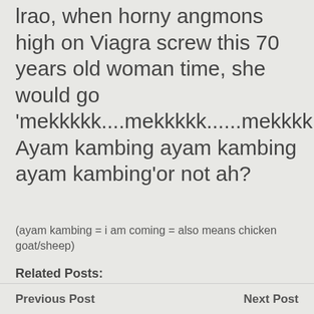lrao, when horny angmons high on Viagra screw this 70 years old woman time, she would go 'mekkkkk....mekkkkk......mekkkkk... Ayam kambing ayam kambing ayam kambing'or not ah?
(ayam kambing = i am coming = also means chicken goat/sheep)
Related Posts:
Previous Post   Next Post